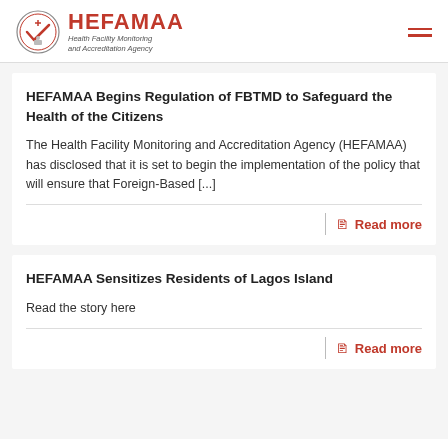HEFAMAA Health Facility Monitoring and Accreditation Agency
HEFAMAA Begins Regulation of FBTMD to Safeguard the Health of the Citizens
The Health Facility Monitoring and Accreditation Agency (HEFAMAA) has disclosed that it is set to begin the implementation of the policy that will ensure that Foreign-Based [...]
Read more
HEFAMAA Sensitizes Residents of Lagos Island
Read the story here
Read more